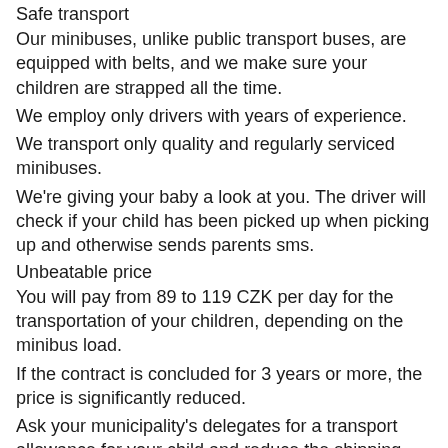Safe transport
Our minibuses, unlike public transport buses, are equipped with belts, and we make sure your children are strapped all the time.
We employ only drivers with years of experience.
We transport only quality and regularly serviced minibuses.
We're giving your baby a look at you. The driver will check if your child has been picked up when picking up and otherwise sends parents sms.
Unbeatable price
You will pay from 89 to 119 CZK per day for the transportation of your children, depending on the minibus load.
If the contract is concluded for 3 years or more, the price is significantly reduced.
Ask your municipality's delegates for a transport allowance for your child and reduce the shipping cost!
Try our first day free shipping!
Comfort